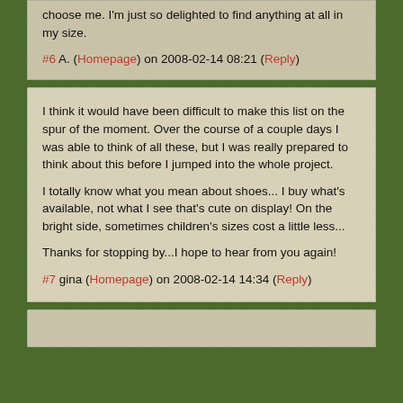choose me. I'm just so delighted to find anything at all in my size.
#6 A. (Homepage) on 2008-02-14 08:21 (Reply)
I think it would have been difficult to make this list on the spur of the moment. Over the course of a couple days I was able to think of all these, but I was really prepared to think about this before I jumped into the whole project.
I totally know what you mean about shoes... I buy what's available, not what I see that's cute on display! On the bright side, sometimes children's sizes cost a little less...
Thanks for stopping by...I hope to hear from you again!
#7 gina (Homepage) on 2008-02-14 14:34 (Reply)